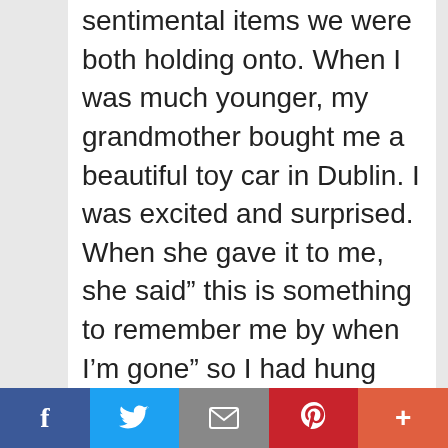sentimental items we were both holding onto.  When I was much younger, my grandmother bought me a beautiful toy car in Dublin. I was excited and surprised. When she gave it to me, she said” this is something to remember me by when I’m gone” so I had hung onto it for over 40 years. The problem is when we store stuff away in a box we just forget about it and it’s not doing anyone any good. The trick is separating the memory, which I definitely want to keep, from the physical item, the toy. By photographing it and writing about
Facebook | Twitter | Email | Pinterest | More